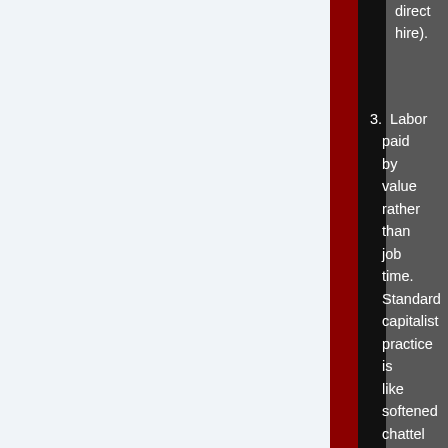direct hire).
3. Labor paid by value rather than job time. Standard capitalist practice is like softened chattel slavery where the master/capital or its